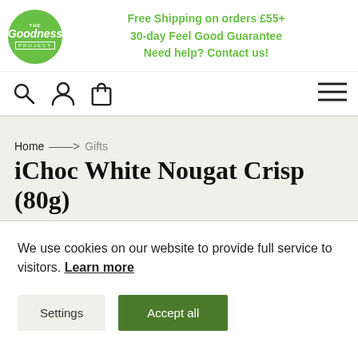Free Shipping on orders £55+ 30-day Feel Good Guarantee Need help? Contact us!
Home → Gifts
iChoc White Nougat Crisp (80g)
We use cookies on our website to provide full service to visitors. Learn more
Settings | Accept all